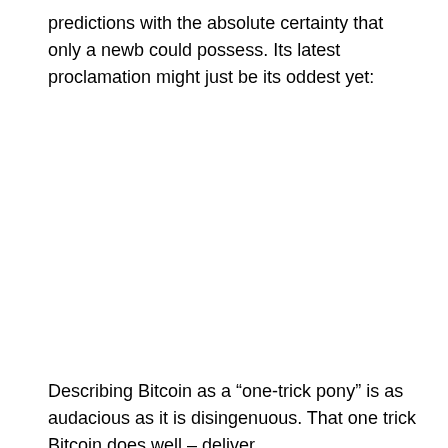predictions with the absolute certainty that only a newb could possess. Its latest proclamation might just be its oddest yet:
Describing Bitcoin as a “one-trick pony” is as audacious as it is disingenuous. That one trick Bitcoin does well – deliver